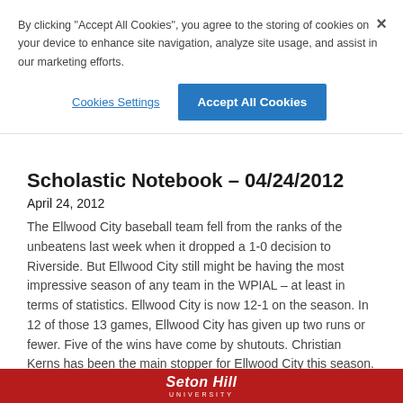By clicking "Accept All Cookies", you agree to the storing of cookies on your device to enhance site navigation, analyze site usage, and assist in our marketing efforts.
Cookies Settings
Accept All Cookies
Scholastic Notebook – 04/24/2012
April 24, 2012
The Ellwood City baseball team fell from the ranks of the unbeatens last week when it dropped a 1-0 decision to Riverside. But Ellwood City still might be having the most impressive season of any team in the WPIAL – at least in terms of statistics. Ellwood City is now 12-1 on the season. In 12 of those 13 games, Ellwood City has given up two runs or fewer. Five of the wins have come by shutouts. Christian Kerns has been the main stopper for Ellwood City this season. He had been 13-0 over the past two seasons until
Seton Hill UNIVERSITY